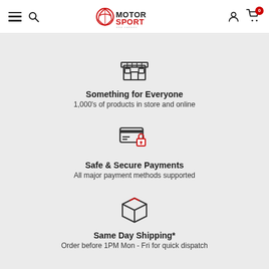Motorsport and Spares — navigation header with logo, search, account, and cart (0 items)
[Figure (illustration): Store/shop icon (house with awning)]
Something for Everyone
1,000's of products in store and online
[Figure (illustration): Secure payment icon (card with lock)]
Safe & Secure Payments
All major payment methods supported
[Figure (illustration): Shipping box icon]
Same Day Shipping*
Order before 1PM Mon - Fri for quick dispatch